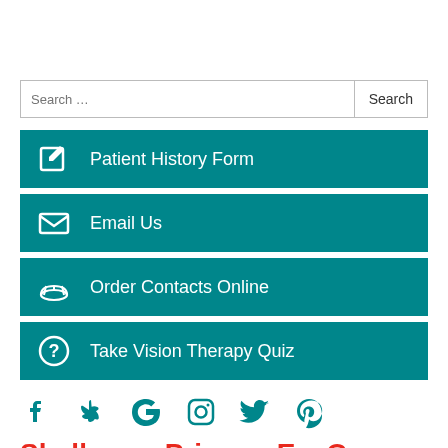Patient History Form
Email Us
Order Contacts Online
Take Vision Therapy Quiz
[Figure (infographic): Social media icons row: Facebook, Yelp, Google, Instagram, Twitter, Pinterest — all in teal color]
Shelburne Primary EyeCare
207 First Ave E